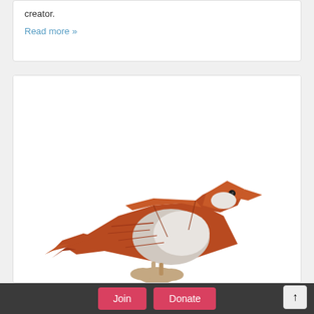creator.
Read more »
[Figure (photo): An origami bird (sparrow/robin) made from orange/red and white/silver paper, photographed against a white background, held by fingers at the bottom.]
Join   Donate   ↑